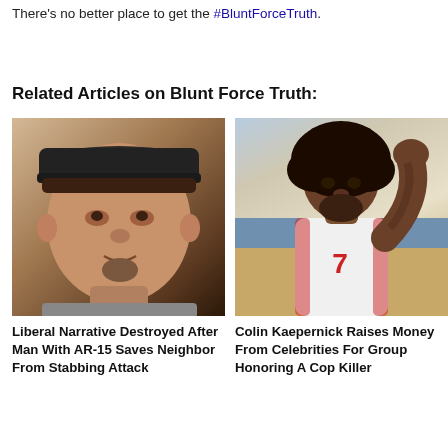There's no better place to get the #BluntForceTruth.
Related Articles on Blunt Force Truth:
[Figure (photo): Photo of a man with a baseball cap looking forward]
Liberal Narrative Destroyed After Man With AR-15 Saves Neighbor From Stabbing Attack
[Figure (photo): Photo of Colin Kaepernick in a 49ers jersey raising his fist]
Colin Kaepernick Raises Money From Celebrities For Group Honoring A Cop Killer